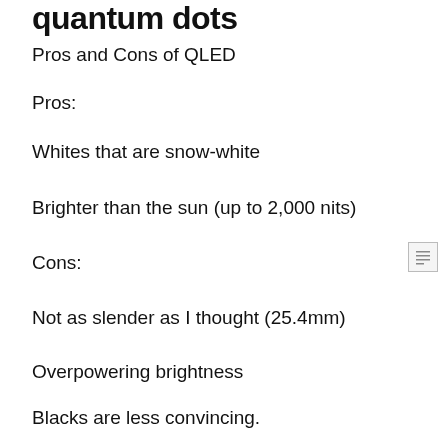quantum dots
Pros and Cons of QLED
Pros:
Whites that are snow-white
Brighter than the sun (up to 2,000 nits)
Cons:
Not as slender as I thought (25.4mm)
Overpowering brightness
Blacks are less convincing.
It isn't that QLED is a new TV technology, but